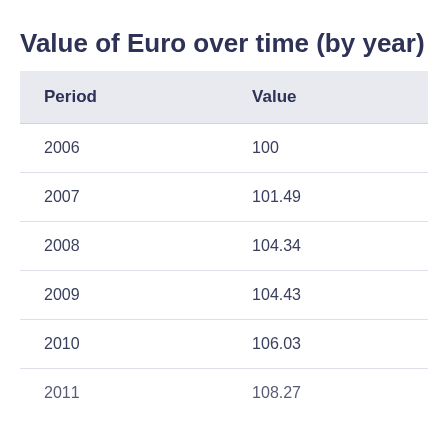Value of Euro over time (by year)
| Period | Value |
| --- | --- |
| 2006 | 100 |
| 2007 | 101.49 |
| 2008 | 104.34 |
| 2009 | 104.43 |
| 2010 | 106.03 |
| 2011 | 108.27 |